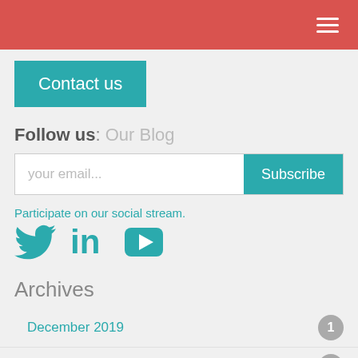Navigation header bar with hamburger menu icon
Contact us
Follow us: Our Blog
your email...  Subscribe
Participate on our social stream.
[Figure (illustration): Social media icons: Twitter bird, LinkedIn 'in', YouTube play button]
Archives
December 2019  1
October 2019  1
September 2019  1